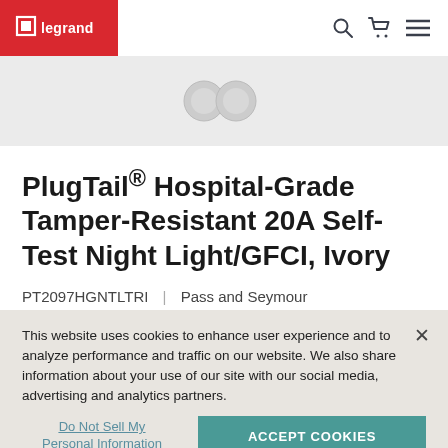Legrand — PT2097HGNTLTRI product page header
[Figure (photo): Partial product image showing GFCI outlet receptacle on light grey background]
PlugTail® Hospital-Grade Tamper-Resistant 20A Self-Test Night Light/GFCI, Ivory
PT2097HGNTLTRI | Pass and Seymour
This website uses cookies to enhance user experience and to analyze performance and traffic on our website. We also share information about your use of our site with our social media, advertising and analytics partners.
Do Not Sell My Personal Information
ACCEPT COOKIES